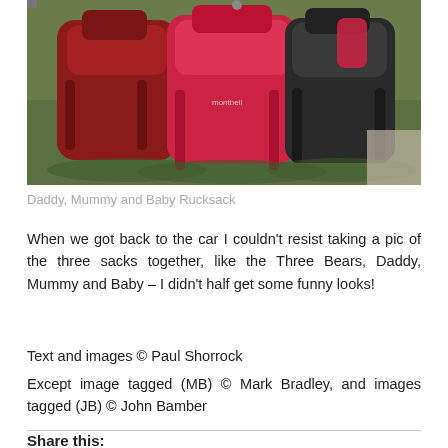[Figure (photo): Three red rucksacks of different sizes sitting on grass, referred to as Daddy, Mummy and Baby Rucksack]
Daddy, Mummy and Baby Rucksack
When we got back to the car I couldn't resist taking a pic of the three sacks together, like the Three Bears, Daddy, Mummy and Baby – I didn't half get some funny looks!
Text and images © Paul Shorrock
Except image tagged (MB) © Mark Bradley, and images tagged (JB) © John Bamber
Share this: